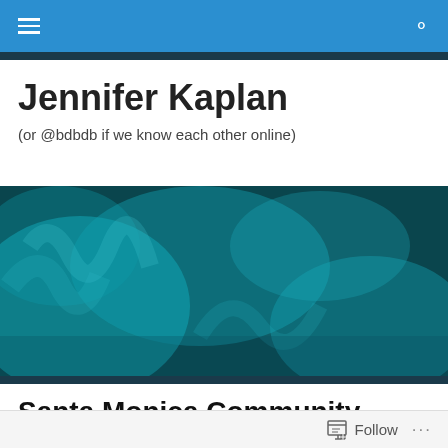Jennifer Kaplan — navigation bar with hamburger menu and search icon
Jennifer Kaplan
(or @bdbdb if we know each other online)
[Figure (photo): Teal-tinted atmospheric banner image with smoke or mist over foliage background, used as hero/header image]
Santa Monica Community Police Academy – Week 10
Follow   ...